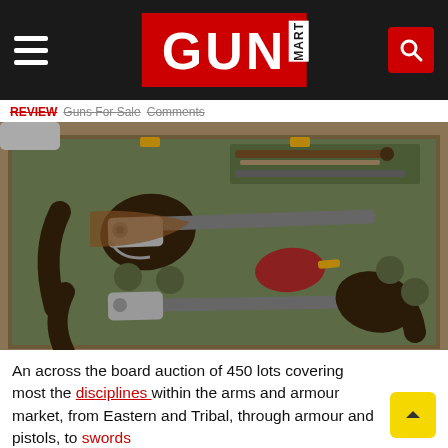GUN MART
REVIEW   Guns For Sale   Comments
[Figure (photo): A cased pair of antique percussion dueling pistols in a green velvet-lined wooden case, with accessories including a powder flask and ramrod]
An across the board auction of 450 lots covering most the disciplines within the arms and armour market, from Eastern and Tribal, through armour and pistols, to swords